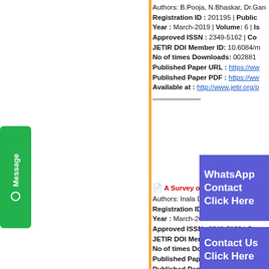Authors: B.Pooja, N.Bhaskar, Dr.Gan...
Registration ID : 201195 | Public...
Year : March-2019 | Volume: 6 | Is...
Approved ISSN : 2349-5162 | Co...
JETIR DOI Member ID: 10.6084/m...
No of times Downloads: 002881
Published Paper URL : https://ww...
Published Paper PDF : https://ww...
Available at : http://www.jetir.org/p...
[Figure (other): WhatsApp Contact Click Here blue overlay button]
A Survey on: Network Securit...
Authors: Inala De...
Registration ID...
Year : March-20...
Approved ISSN : 2349-5162 | Co...
JETIR DOI Member ID: 10.6084/m...
No of times Downloads: 002890
Published Paper URL : https://ww...
Published Paper PDF : https://ww...
Available at : http://www.jetir.org/p...
[Figure (other): Contact Us Click Here blue overlay button]
[Figure (other): Green Message tab on left side]